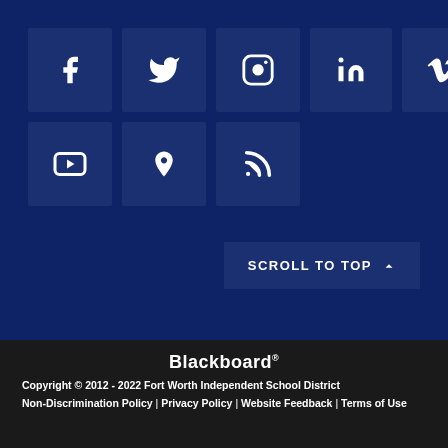[Figure (infographic): Social media icon grid on dark blue background. Row 1: Facebook, Twitter, Instagram, LinkedIn, Vimeo. Row 2: YouTube, Periscope/location pin, RSS feed.]
SCROLL TO TOP ∧
Blackboard® Copyright © 2012 - 2022 Fort Worth Independent School District Non-Discrimination Policy | Privacy Policy | Website Feedback | Terms of Use